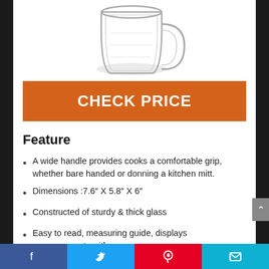[Figure (photo): Glass mug/measuring cup viewed from above-side angle, clear glass with handle]
CHECK PRICE
Feature
A wide handle provides cooks a comfortable grip, whether bare handed or donning a kitchen mitt.
Dimensions :7.6″ X 5.8″ X 6″
Constructed of sturdy & thick glass
Easy to read, measuring guide, displays measurements with
Facebook | Twitter | Pinterest | Mail